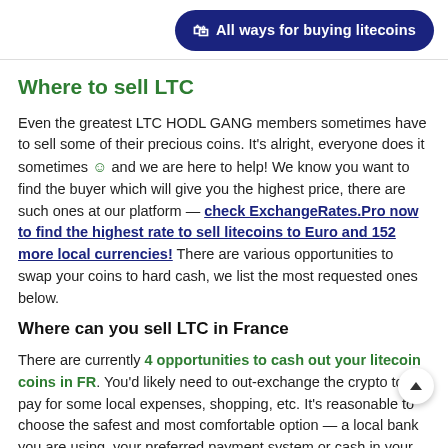All ways for buying litecoins
Where to sell LTC
Even the greatest LTC HODL GANG members sometimes have to sell some of their precious coins. It's alright, everyone does it sometimes 🙂 and we are here to help! We know you want to find the buyer which will give you the highest price, there are such ones at our platform — check ExchangeRates.Pro now to find the highest rate to sell litecoins to Euro and 152 more local currencies! There are various opportunities to swap your coins to hard cash, we list the most requested ones below.
Where can you sell LTC in France
There are currently 4 opportunities to cash out your litecoin coins in FR. You'd likely need to out-exchange the crypto to pay for some local expenses, shopping, etc. It's reasonable to choose the safest and most comfortable option — a local bank you are using, your preferred payment system or cash in your city. Here is our top list of the ways other people in France prefer to exchange litecoin to fiat:
Visa & Mastercard in EUR, works with several currencies, you will receive money using the Credit/Debit Cards. Can also send money to any other location. Be careful with